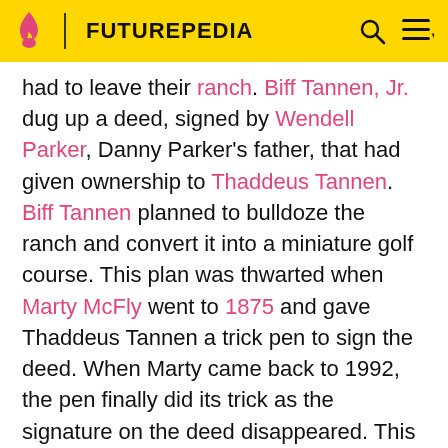FUTUREPEDIA
had to leave their ranch. Biff Tannen, Jr. dug up a deed, signed by Wendell Parker, Danny Parker's father, that had given ownership to Thaddeus Tannen. Biff Tannen planned to bulldoze the ranch and convert it into a miniature golf course. This plan was thwarted when Marty McFly went to 1875 and gave Thaddeus Tannen a trick pen to sign the deed. When Marty came back to 1992, the pen finally did its trick as the signature on the deed disappeared. This nullified the deed, so the Parker family retained their ranch.
Taylor occasionally had to deal with the fallout of Doc Brown's experiments. At one point, after causing another power outage, Doc tried to increase the output of the Hill Valley power grid and ended up causing appliances to